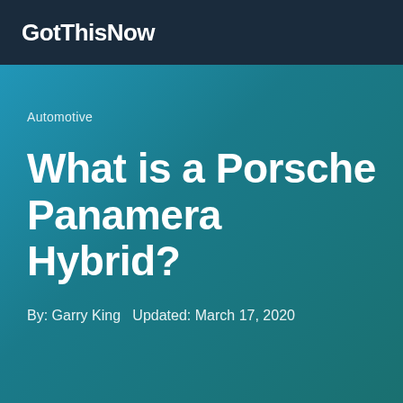GotThisNow
Automotive
What is a Porsche Panamera Hybrid?
By: Garry King   Updated: March 17, 2020